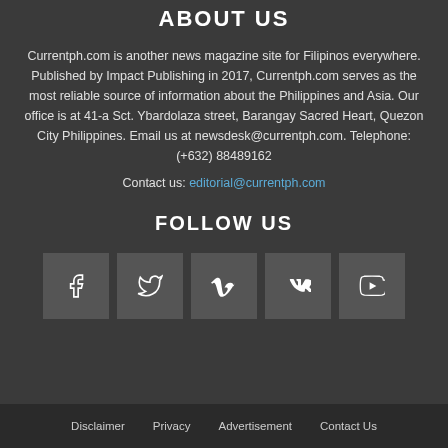ABOUT US
Currentph.com is another news magazine site for Filipinos everywhere. Published by Impact Publishing in 2017, Currentph.com serves as the most reliable source of information about the Philippines and Asia. Our office is at 41-a Sct. Ybardolaza street, Barangay Sacred Heart, Quezon City Philippines. Email us at newsdesk@currentph.com. Telephone: (+632) 88489162
Contact us: editorial@currentph.com
FOLLOW US
[Figure (other): Social media icon buttons: Facebook, Twitter, Vimeo, VK, YouTube]
Disclaimer  Privacy  Advertisement  Contact Us